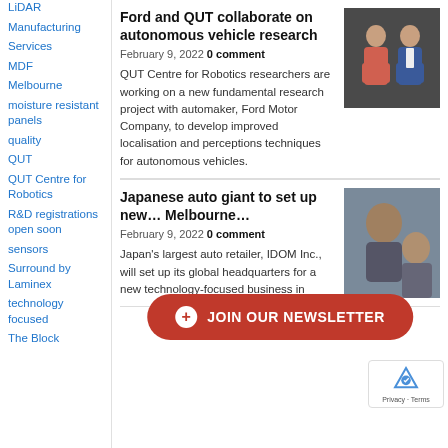LiDAR
Manufacturing
Services
MDF
Melbourne
moisture resistant panels
quality
QUT
QUT Centre for Robotics
R&D registrations open soon
sensors
Surround by Laminex
technology focused
The Block
Ford and QUT collaborate on autonomous vehicle research
February 9, 2022 0 comment
QUT Centre for Robotics researchers are working on a new fundamental research project with automaker, Ford Motor Company, to develop improved localisation and perceptions techniques for autonomous vehicles.
[Figure (photo): Two men standing in front of a dark background, one in a red/salmon sweater and one in a blue suit jacket.]
Japanese auto giant to set up new … Melbourne…
February 9, 2022 0 comment
Japan's largest auto retailer, IDOM Inc., will set up its global headquarters for a new technology-focused business in
[Figure (photo): Photo of people, partially visible, related to the Japanese auto giant article.]
+ JOIN OUR NEWSLETTER